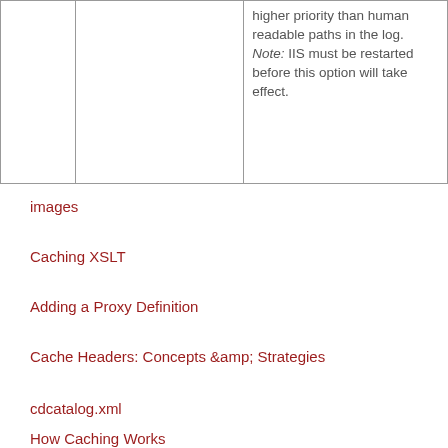|  |  | higher priority than human readable paths in the log. Note: IIS must be restarted before this option will take effect. |
images
Caching XSLT
Adding a Proxy Definition
Cache Headers: Concepts &amp; Strategies
cdcatalog.xml
How Caching Works